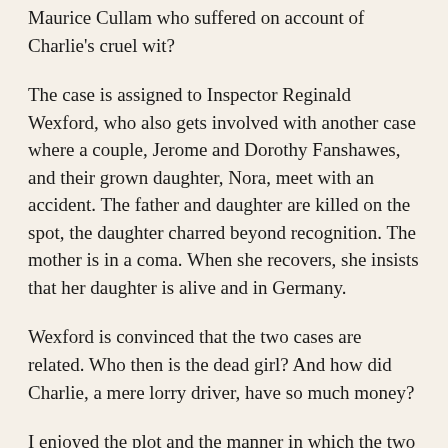Maurice Cullam who suffered on account of Charlie's cruel wit?
The case is assigned to Inspector Reginald Wexford, who also gets involved with another case where a couple, Jerome and Dorothy Fanshawes, and their grown daughter, Nora, meet with an accident. The father and daughter are killed on the spot, the daughter charred beyond recognition. The mother is in a coma. When she recovers, she insists that her daughter is alive and in Germany.
Wexford is convinced that the two cases are related. Who then is the dead girl? And how did Charlie, a mere lorry driver, have so much money?
I enjoyed the plot and the manner in which the two investigations come together. The ends are tied together very neatly.
I also thought it rather clever how every character in the